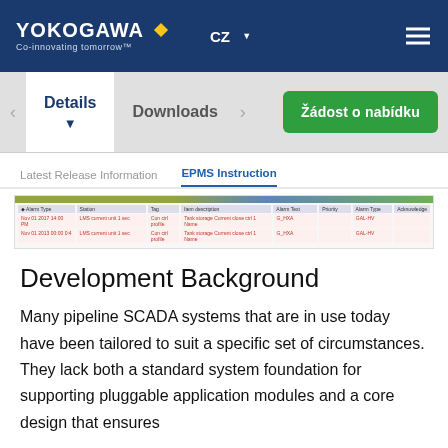YOKOGAWA Co-innovating tomorrow  CZ
Details  Downloads  Žádost o nabídku
Latest Release Information  EPMS Instruction
[Figure (screenshot): Screenshot of a data table with rows highlighted in red text showing pipeline alarm/event data with columns for Alarm Type, Station, Tag, Item description, Alarm Text, Priority, Alarm Type, Acknowledge]
Development Background
Many pipeline SCADA systems that are in use today have been tailored to suit a specific set of circumstances. They lack both a standard system foundation for supporting pluggable application modules and a core design that ensures